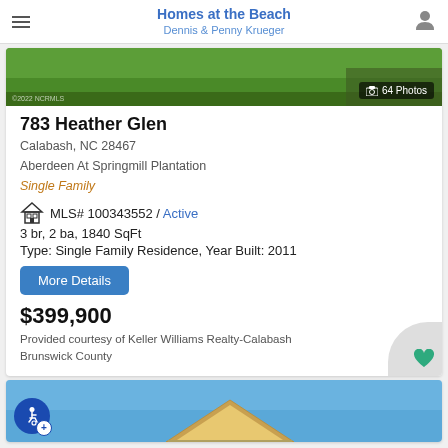Homes at the Beach
Dennis & Penny Krueger
[Figure (photo): Aerial/ground photo of green lawn property with photo count badge showing 64 Photos]
783 Heather Glen
Calabash, NC 28467
Aberdeen At Springmill Plantation
Single Family
MLS# 100343552 / Active
3 br, 2 ba, 1840 SqFt
Type: Single Family Residence, Year Built: 2011
More Details
$399,900
Provided courtesy of Keller Williams Realty-Calabash Brunswick County
[Figure (photo): Photo of house exterior with blue sky background and accessibility badge overlay]